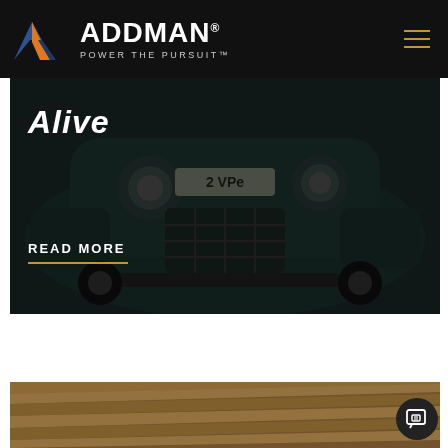ADDMAN® POWER THE PURSUIT™
[Figure (photo): Close-up front view of a dark teal vintage racing car (marked '2 VPE') with round headlights and a grid-pattern grille, overlaid with white bold italic text 'Alive' and a 'READ MORE' link with orange underline]
[Figure (photo): Sepia-toned photo of stacked layered/corrugated manufacturing components at an angle, partially visible at bottom of page]